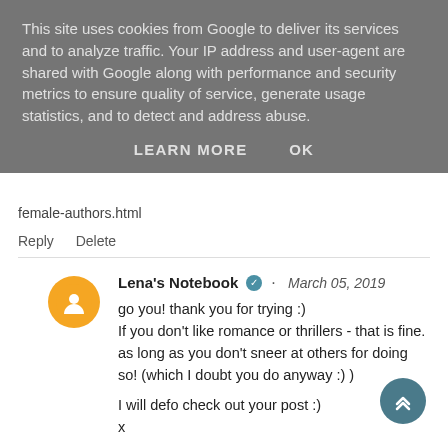This site uses cookies from Google to deliver its services and to analyze traffic. Your IP address and user-agent are shared with Google along with performance and security metrics to ensure quality of service, generate usage statistics, and to detect and address abuse.
LEARN MORE   OK
female-authors.html
Reply   Delete
Lena's Notebook · March 05, 2019
go you! thank you for trying :)
If you don't like romance or thrillers - that is fine. as long as you don't sneer at others for doing so! (which I doubt you do anyway :) )

I will defo check out your post :)
x
Delete